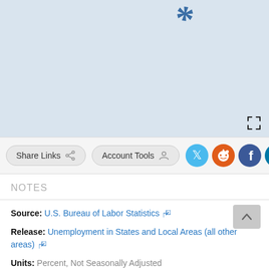[Figure (continuous-plot): Partial view of a line chart with blue background (light steel blue). Only a small blue italic numeral/curve fragment is visible at the top. Chart area showing loading or cropped economic data chart.]
Share Links  Account Tools
NOTES
Source: U.S. Bureau of Labor Statistics
Release: Unemployment in States and Local Areas (all other areas)
Units:  Percent, Not Seasonally Adjusted
Frequency:  Monthly